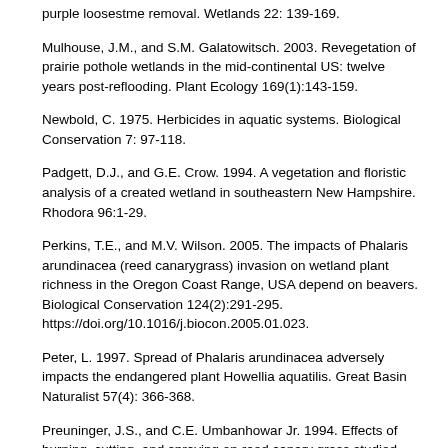purple loosestme removal. Wetlands 22: 139-169.
Mulhouse, J.M., and S.M. Galatowitsch. 2003. Revegetation of prairie pothole wetlands in the mid-continental US: twelve years post-reflooding. Plant Ecology 169(1):143-159.
Newbold, C. 1975. Herbicides in aquatic systems. Biological Conservation 7: 97-118.
Padgett, D.J., and G.E. Crow. 1994. A vegetation and floristic analysis of a created wetland in southeastern New Hampshire. Rhodora 96:1-29.
Perkins, T.E., and M.V. Wilson. 2005. The impacts of Phalaris arundinacea (reed canarygrass) invasion on wetland plant richness in the Oregon Coast Range, USA depend on beavers. Biological Conservation 124(2):291-295. https://doi.org/10.1016/j.biocon.2005.01.023.
Peter, L. 1997. Spread of Phalaris arundinacea adversely impacts the endangered plant Howellia aquatilis. Great Basin Naturalist 57(4): 366-368.
Preuninger, J.S., and C.E. Umbanhowar Jr. 1994. Effects of burning, cutting, and spraying on reed canary grass studied (Minnesota). Restoration and Management Notes 12(2): 207.
Reuter, D.D. 1986. Sedge meadows of the Upper Midwest: a stewardship summary. Natural Areas Journal 6(4): 27-34.
Semere, T., and F.M. Slater. 2007. Ground flora, small mammal and bird species diversity in miscanthus (Miscanthyuu giganteus) and reed canary-grass on contrasting soil types. Biomass and Bioenergy 31(1): 20-29.